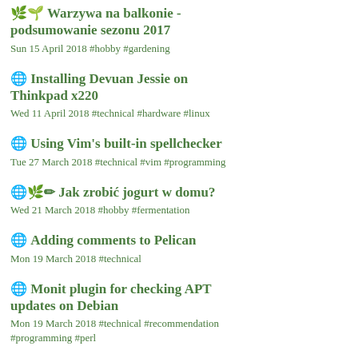🌿🌱 Warzywa na balkonie - podsumowanie sezonu 2017
Sun 15 April 2018 #hobby #gardening
🌐 Installing Devuan Jessie on Thinkpad x220
Wed 11 April 2018 #technical #hardware #linux
🌐 Using Vim's built-in spellchecker
Tue 27 March 2018 #technical #vim #programming
🌐🌿✏ Jak zrobić jogurt w domu?
Wed 21 March 2018 #hobby #fermentation
🌐 Adding comments to Pelican
Mon 19 March 2018 #technical
🌐 Monit plugin for checking APT updates on Debian
Mon 19 March 2018 #technical #recommendation #programming #perl